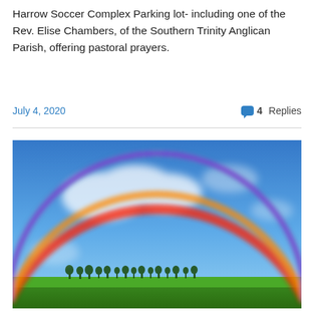Harrow Soccer Complex Parking lot- including one of the Rev. Elise Chambers, of the Southern Trinity Anglican Parish, offering pastoral prayers.
July 4, 2020    4 Replies
[Figure (photo): Photograph of a large rainbow arching over a green field with a blue sky and white clouds. A row of trees is visible at the horizon.]